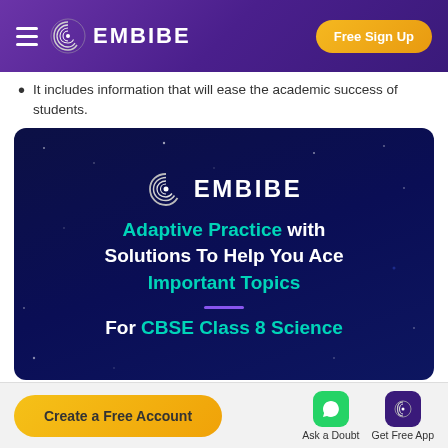EMBIBE — Free Sign Up
It includes information that will ease the academic success of students.
[Figure (infographic): Embibe promotional card on dark navy background. Shows Embibe logo at top, text 'Adaptive Practice with Solutions To Help You Ace Important Topics' with 'Adaptive Practice' and 'Important Topics' in teal. A purple divider line. Then 'For CBSE Class 8 Science' with 'CBSE Class 8 Science' in teal.]
Create a Free Account | Ask a Doubt | Get Free App